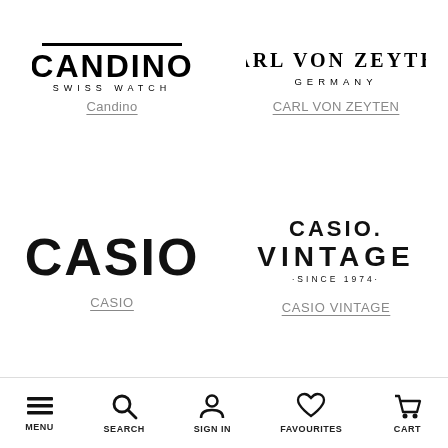[Figure (logo): Candino Swiss Watch logo — bold stylized text CANDINO with SWISS WATCH below]
Candino
[Figure (logo): Carl Von Zeyten Germany logo — serif brand name with Germany below]
CARL VON ZEYTEN
[Figure (logo): CASIO logo in large bold black letters]
CASIO
[Figure (logo): Casio Vintage Since 1974 logo]
CASIO VINTAGE
MENU   SEARCH   SIGN IN   FAVOURITES   CART